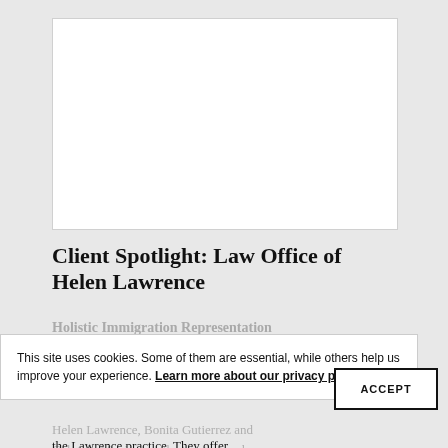[Figure (photo): White rectangular image placeholder area representing a photo for the Law Office of Helen Lawrence article]
Client Spotlight: Law Office of Helen Lawrence
Holistic Immigration Representation
This site uses cookies. Some of them are essential, while others help us improve your experience. Learn more about our privacy policy
Helen Lawrence, Bonita Gutierrez and Gabriela Monico are the trio that make up the Lawrence practice. They offer